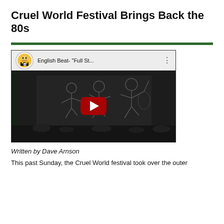Cruel World Festival Brings Back the 80s
[Figure (screenshot): Embedded YouTube video thumbnail showing English Beat performing live on stage with animated backdrop. Video title reads 'English Beat- "Full St...']
Written by Dave Arnson
This past Sunday, the Cruel World festival took over the outer